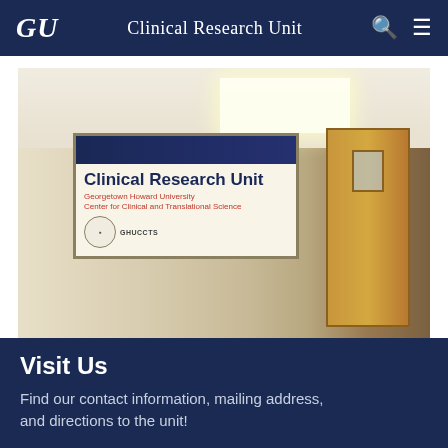GU | Clinical Research Unit
[Figure (photo): Hallway photo showing a Clinical Research Unit sign banner mounted on a beige wall, with a wooden door visible to the right and a ceiling light panel above. The sign reads 'Clinical Research Unit' with 'Georgetown Howard University Center for Clinical and Translational Science' and 'GHUCCTS' branding.]
Visit Us
Find our contact information, mailing address, and directions to the unit!